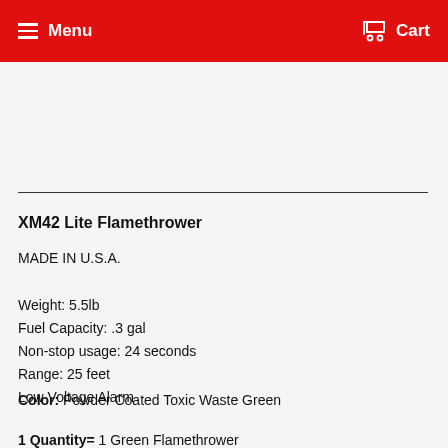Menu  Cart
XM42 Lite Flamethrower
MADE IN U.S.A.
Weight: 5.5lb
Fuel Capacity: .3 gal
Non-stop usage: 24 seconds
Range: 25 feet
Low Voltage Alarm
Color: Powder Coated Toxic Waste Green
1 Quantity= 1 Green Flamethrower